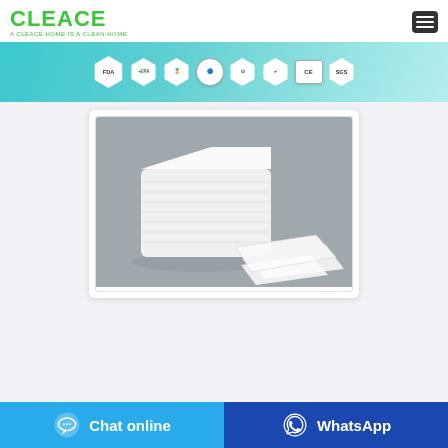CLEACE — A CLEACE HOME IS A CLEAN HOME
[Figure (infographic): Certification badge banner showing FDA, EPA, and other certification logos on a teal gradient background]
[Figure (photo): Product photo: stack of white nonwoven dry wipes/tissues on a grey background, with several individual sheets spread in front]
Chat online
WhatsApp